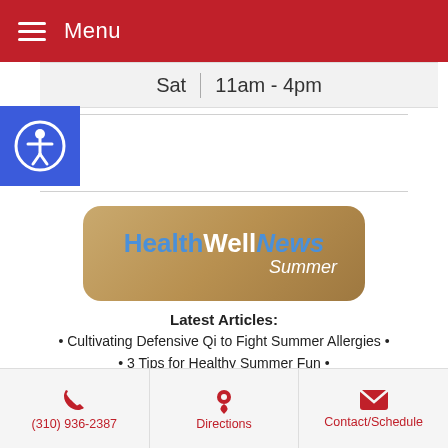Menu
| Day | Hours |
| --- | --- |
| Sat | 11am - 4pm |
[Figure (other): Accessibility widget icon — person in circle on blue square background]
[Figure (other): HealthWellNews Summer banner — tan/sandy background with starfish, bold blue/white text reading HealthWellNews with italic Summer below]
Latest Articles:
Cultivating Defensive Qi to Fight Summer Allergies •
3 Tips for Healthy Summer Fun •
A Taste of Summer •
(310) 936-2387  Directions  Contact/Schedule